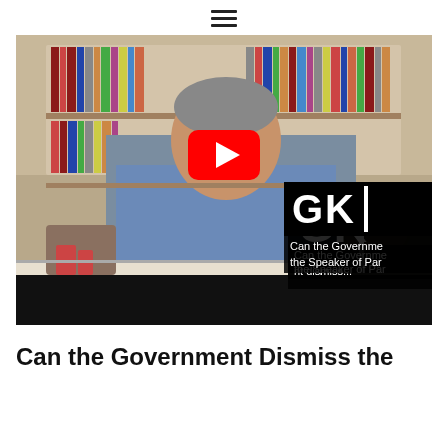≡
[Figure (screenshot): YouTube video thumbnail showing a man seated at a desk in front of a bookshelf, with a red YouTube play button overlay. Bottom-right overlay shows 'GK |' logo and text 'Can the Government dismiss the Speaker of Parliament']
Can the Government Dismiss the